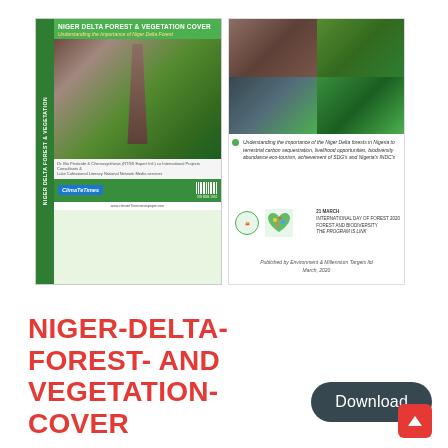[Figure (illustration): Book cover thumbnail of 'Niger Delta Forest & Vegetation Cover' publication showing a fallen tree trunk in a forest, with Climate Times branding and green header. Next to it is the back cover with four nature/forest photos arranged in a grid, italicized description text, logos, and publisher information 'Published by Environment & Millennium Targets ltd, March, 2020'.]
NIGER-DELTA-FOREST- AND VEGETATION-COVER
Download